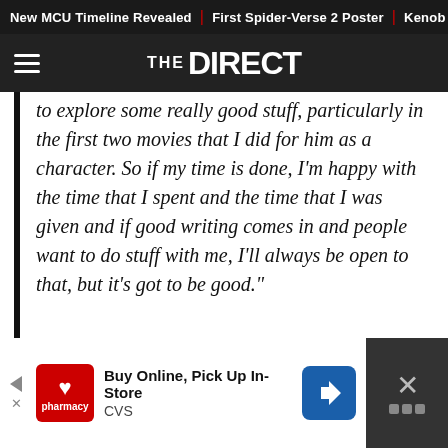New MCU Timeline Revealed | First Spider-Verse 2 Poster | Kenob
THE DIRECT
to explore some really good stuff, particularly in the first two movies that I did for him as a character. So if my time is done, I'm happy with the time that I spent and the time that I was given and if good writing comes in and people want to do stuff with me, I'll always be open to that, but it's got to be good."
[Figure (advertisement): CVS pharmacy advertisement: Buy Online, Pick Up In-Store. CVS logo, navigation arrow icon, close button with X.]